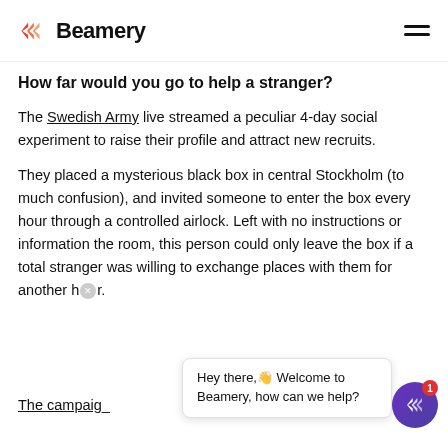Beamery
How far would you go to help a stranger?
The Swedish Army live streamed a peculiar 4-day social experiment to raise their profile and attract new recruits.
They placed a mysterious black box in central Stockholm (to much confusion), and invited someone to enter the box every hour through a controlled airlock. Left with no instructions or information the room, this person could only leave the box if a total stranger was willing to exchange places with them for another hour.
The campaign...